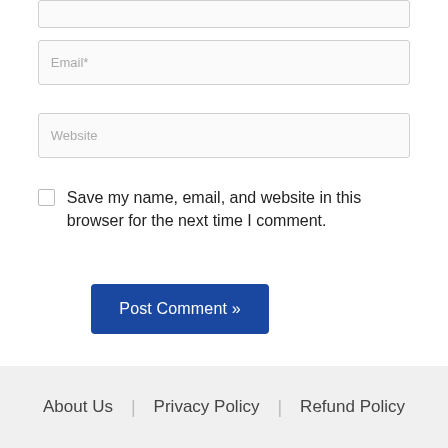[Figure (screenshot): Top partial input box (Name field, cropped at top)]
Email*
Website
Save my name, email, and website in this browser for the next time I comment.
Post Comment »
About Us | Privacy Policy | Refund Policy